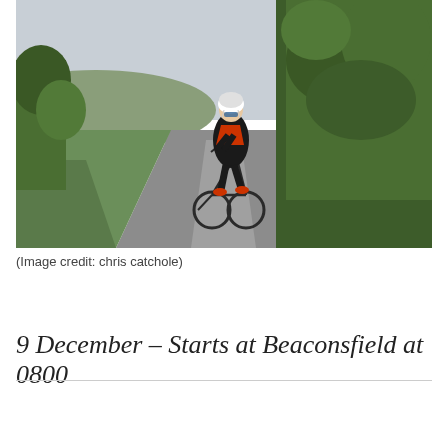[Figure (photo): A cyclist wearing a white helmet, blue sunglasses, black and orange jacket, black tights, and orange shoes rides a road bike toward the camera on a narrow country lane. Green hedges and trees line the right side; open fields are visible on the left. Overcast sky in the background.]
(Image credit: chris catchole)
9 December – Starts at Beaconsfield at 0800